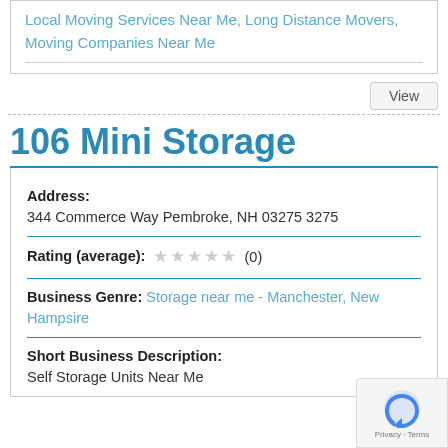Local Moving Services Near Me, Long Distance Movers, Moving Companies Near Me
View
106 Mini Storage
Address:
344 Commerce Way Pembroke, NH 03275 3275
Rating (average): (0)
Business Genre: Storage near me - Manchester, New Hampsire
Short Business Description: Self Storage Units Near Me